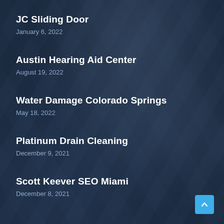JC Sliding Door
January 6, 2022
Austin Hearing Aid Center
August 19, 2022
Water Damage Colorado Springs
May 18, 2022
Platinum Drain Cleaning
December 9, 2021
Scott Keever SEO Miami
December 8, 2021